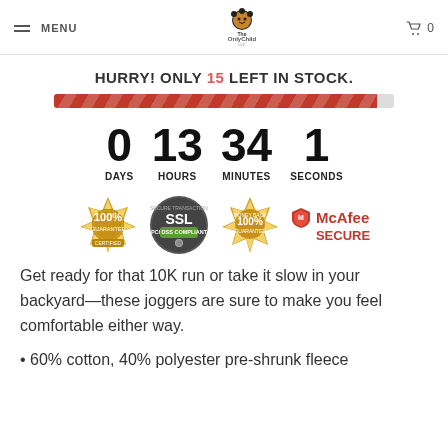MENU  [logo: The Only Child LLC]  [cart] 0
HURRY! ONLY 15 LEFT IN STOCK.
[Figure (infographic): Red diagonal-striped progress bar indicating stock urgency]
[Figure (infographic): Countdown timer showing 0 DAYS, 13 HOURS, 34 MINUTES, 1 SECONDS]
[Figure (infographic): Trust badges: 100% guarantee gold seal, SSL PCI DSS Compliant seal, 100% Money Back Guarantee gold seal, McAfee SECURE logo]
Get ready for that 10K run or take it slow in your backyard—these joggers are sure to make you feel comfortable either way.
60% cotton, 40% polyester pre-shrunk fleece